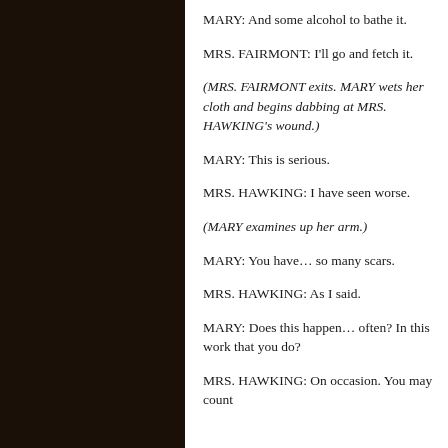MARY: And some alcohol to bathe it.
MRS. FAIRMONT: I'll go and fetch it.
(MRS. FAIRMONT exits. MARY wets her cloth and begins dabbing at MRS. HAWKING's wound.)
MARY: This is serious.
MRS. HAWKING: I have seen worse.
(MARY examines up her arm.)
MARY: You have… so many scars.
MRS. HAWKING: As I said.
MARY: Does this happen… often? In this work that you do?
MRS. HAWKING: On occasion. You may count...